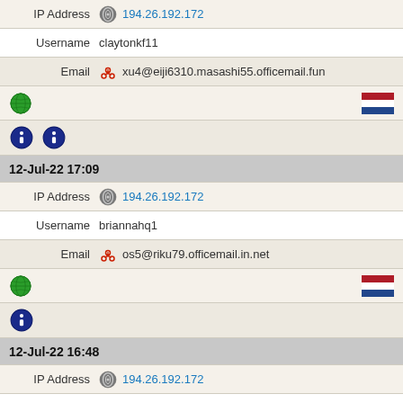IP Address 194.26.192.172
Username claytonkf11
Email xu4@eiji6310.masashi55.officemail.fun
[Figure (infographic): Globe icon on left, Netherlands flag on right]
[Figure (infographic): Two blue badge/info icons]
12-Jul-22 17:09
IP Address 194.26.192.172
Username briannahq1
Email os5@riku79.officemail.in.net
[Figure (infographic): Globe icon on left, Netherlands flag on right]
[Figure (infographic): One blue badge/info icon]
12-Jul-22 16:48
IP Address 194.26.192.172
Username minervasy2
Email ww3@ayumu610.naoki21.inwebmail.fun
[Figure (infographic): Globe icon on left, Netherlands flag on right]
[Figure (infographic): One blue badge/info icon (partial)]